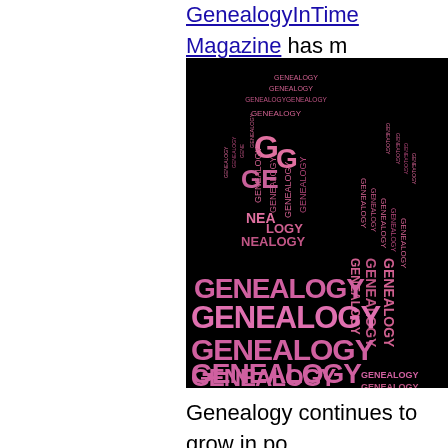GenealogyInTime Magazine has m...
[Figure (illustration): Word cloud image on black background with the word GENEALOGY repeated in pink lettering of various sizes, arranged in the shape of a person's silhouette on top and large bold text at the bottom.]
Genealogy continues to grow in po...